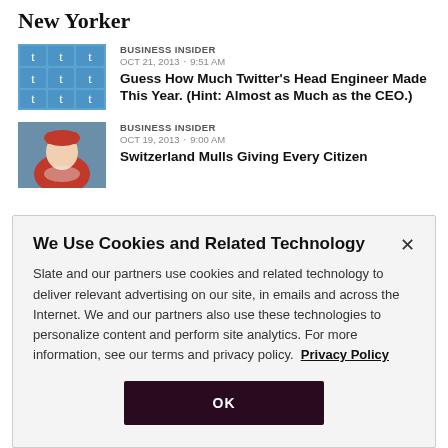New Yorker
[Figure (photo): Twitter logo tiles - blue background with white bird icons]
BUSINESS INSIDER OCT 21, 2013 · 9:51 AM
Guess How Much Twitter's Head Engineer Made This Year. (Hint: Almost as Much as the CEO.)
[Figure (photo): Soccer fan wearing red and white outfit with hat]
BUSINESS INSIDER OCT 19, 2013 · 9:00 AM
Switzerland Mulls Giving Every Citizen
We Use Cookies and Related Technology
Slate and our partners use cookies and related technology to deliver relevant advertising on our site, in emails and across the Internet. We and our partners also use these technologies to personalize content and perform site analytics. For more information, see our terms and privacy policy. Privacy Policy
OK